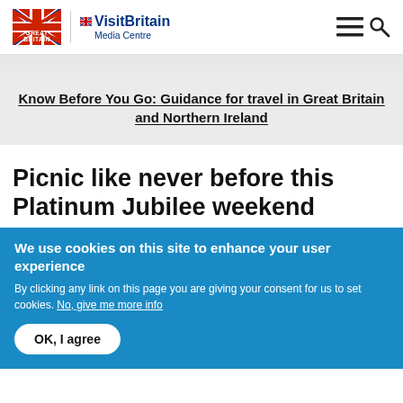Great Britain | VisitBritain Media Centre
Know Before You Go: Guidance for travel in Great Britain and Northern Ireland
Picnic like never before this Platinum Jubilee weekend
We use cookies on this site to enhance your user experience
By clicking any link on this page you are giving your consent for us to set cookies. No, give me more info
OK, I agree